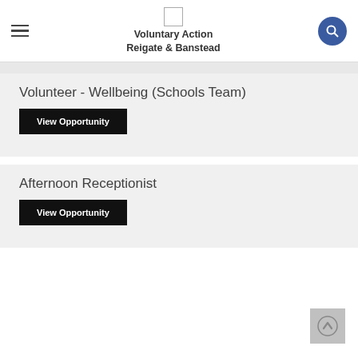Voluntary Action Reigate & Banstead
Volunteer - Wellbeing (Schools Team)
View Opportunity
Afternoon Receptionist
View Opportunity